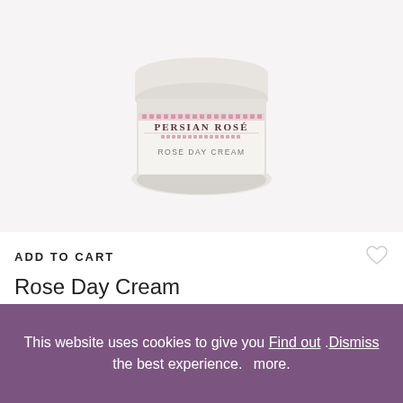[Figure (photo): A white cream jar labeled 'Persian Rose Rose Day Cream' photographed against a light pinkish-white background. The jar has a white lid and a label with pink decorative border elements.]
ADD TO CART
Rose Day Cream
£30
This website uses cookies to give you Find out .Dismiss the best experience. more.